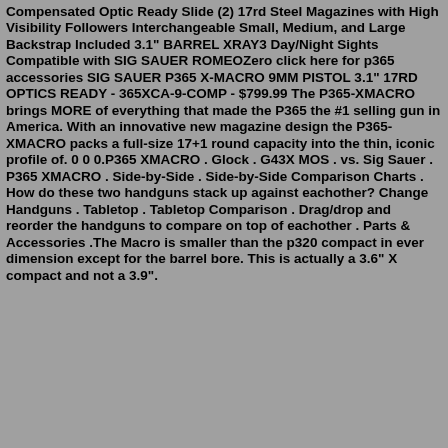Compensated Optic Ready Slide (2) 17rd Steel Magazines with High Visibility Followers Interchangeable Small, Medium, and Large Backstrap Included 3.1" BARREL XRAY3 Day/Night Sights Compatible with SIG SAUER ROMEOZero click here for p365 accessories SIG SAUER P365 X-MACRO 9MM PISTOL 3.1" 17RD OPTICS READY - 365XCA-9-COMP - $799.99 The P365-XMACRO brings MORE of everything that made the P365 the #1 selling gun in America. With an innovative new magazine design the P365-XMACRO packs a full-size 17+1 round capacity into the thin, iconic profile of. 0 0 0.P365 XMACRO . Glock . G43X MOS . vs. Sig Sauer . P365 XMACRO . Side-by-Side . Side-by-Side Comparison Charts . How do these two handguns stack up against eachother? Change Handguns . Tabletop . Tabletop Comparison . Drag/drop and reorder the handguns to compare on top of eachother . Parts & Accessories .The Macro is smaller than the p320 compact in ever dimension except for the barrel bore. This is actually a 3.6" X compact and not a 3.9".